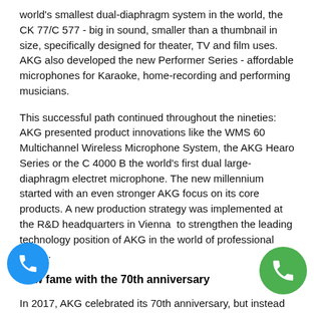world's smallest dual-diaphragm system in the world, the CK 77/C 577 - big in sound, smaller than a thumbnail in size, specifically designed for theater, TV and film uses. AKG also developed the new Performer Series - affordable microphones for Karaoke, home-recording and performing musicians.
This successful path continued throughout the nineties: AKG presented product innovations like the WMS 60 Multichannel Wireless Microphone System, the AKG Hearo Series or the C 4000 B the world's first dual large-diaphragm electret microphone. The new millennium started with an even stronger AKG focus on its core products. A new production strategy was implemented at the R&D headquarters in Vienna to strengthen the leading technology position of AKG in the world of professional audio.
New fame with the 70th anniversary
In 2017, AKG celebrated its 70th anniversary, but instead of looking back, AKG is looking toward a bright future with additional growth. In addition to the development of new geographical markets, the focus is now on the strategic positioning of AKG in existing and new markets. 2017 and beyond will see the launch of many new and innovative AKG products. With these and many more activities, AKG